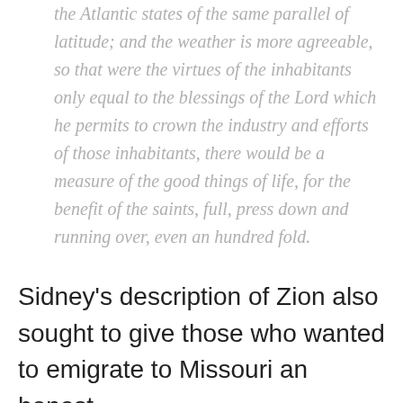the Atlantic states of the same parallel of latitude; and the weather is more agreeable, so that were the virtues of the inhabitants only equal to the blessings of the Lord which he permits to crown the industry and efforts of those inhabitants, there would be a measure of the good things of life, for the benefit of the saints, full, press down and running over, even an hundred fold.
Sidney's description of Zion also sought to give those who wanted to emigrate to Missouri an honest